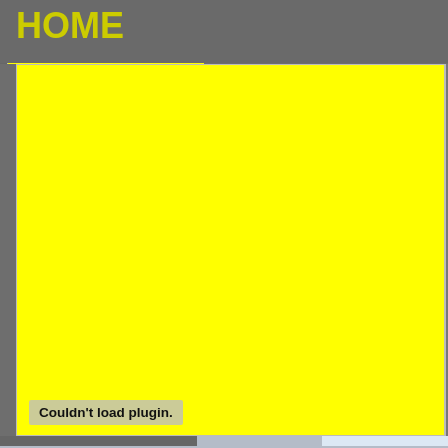HOME
[Figure (screenshot): Yellow rectangle area with 'Couldn't load plugin.' message at bottom, representing a plugin/flash content area]
[Figure (screenshot): Gray area on right with 'Couldn't load plugin.' message box]
Ricambi NUOVI
ABBIGLIAMENTO (37)
AERMACCHI (1)
AKRONT (2)
ALTH (1)
ANSWER STICKERS (3)
APRILIA (7)
ARIETE (1)
ASPES (6)
<< Indietro
> HONDA FIANCATE
Prezzo: 25,00 €
Marca: PLASTICS UR
Modello: XR600